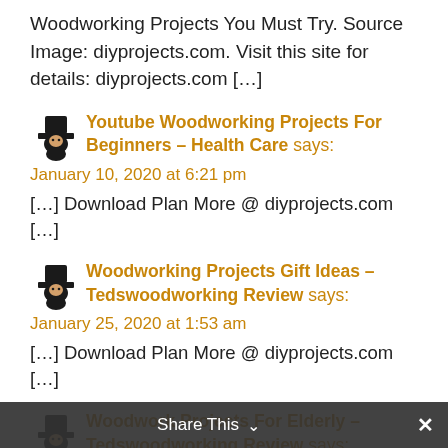Woodworking Projects You Must Try. Source Image: diyprojects.com. Visit this site for details: diyprojects.com […]
Youtube Woodworking Projects For Beginners – Health Care says:
January 10, 2020 at 6:21 pm
[…] Download Plan More @ diyprojects.com […]
Woodworking Projects Gift Ideas – Tedswoodworking Review says:
January 25, 2020 at 1:53 am
[…] Download Plan More @ diyprojects.com […]
Woodwork Projects For Elderly – Tedswoodworking Review says: